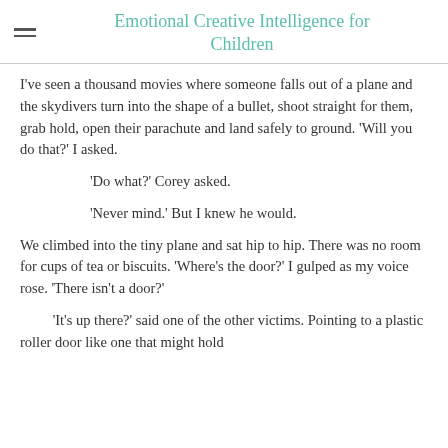Emotional Creative Intelligence for Children
I've seen a thousand movies where someone falls out of a plane and the skydivers turn into the shape of a bullet, shoot straight for them, grab hold, open their parachute and land safely to ground. 'Will you do that?' I asked.
'Do what?' Corey asked.
'Never mind.' But I knew he would.
We climbed into the tiny plane and sat hip to hip. There was no room for cups of tea or biscuits. 'Where's the door?' I gulped as my voice rose. 'There isn't a door?'
'It's up there?' said one of the other victims. Pointing to a plastic roller door like one that might hold